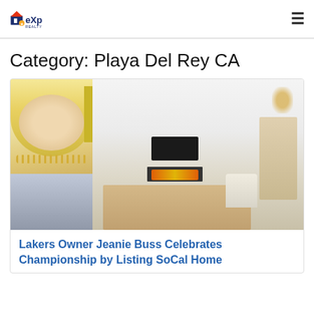eXp Realty
Category: Playa Del Rey CA
[Figure (photo): Composite image showing a blonde woman on the left side and a modern home interior with dining area, fireplace, and staircase on the right side]
Lakers Owner Jeanie Buss Celebrates Championship by Listing SoCal Home